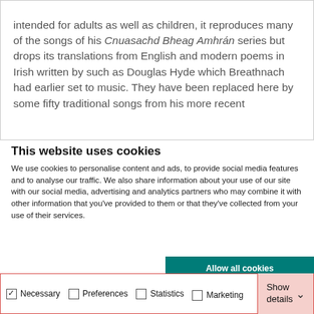intended for adults as well as children, it reproduces many of the songs of his Cnuasachd Bheag Amhrán series but drops its translations from English and modern poems in Irish written by such as Douglas Hyde which Breathnach had earlier set to music. They have been replaced here by some fifty traditional songs from his more recent collections. This...
This website uses cookies
We use cookies to personalise content and ads, to provide social media features and to analyse our traffic. We also share information about your use of our site with our social media, advertising and analytics partners who may combine it with other information that you've provided to them or that they've collected from your use of their services.
Allow all cookies
Allow selection
Use necessary cookies only
Necessary  Preferences  Statistics  Marketing  Show details